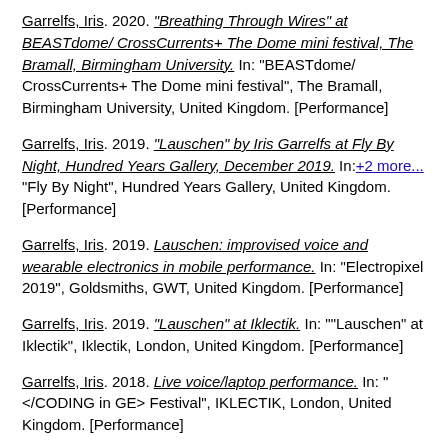Garrelfs, Iris. 2020. "Breathing Through Wires" at BEASTdome/ CrossCurrents+ The Dome mini festival, The Bramall, Birmingham University. In: "BEASTdome/ CrossCurrents+ The Dome mini festival", The Bramall, Birmingham University, United Kingdom. [Performance]
Garrelfs, Iris. 2019. "Lauschen" by Iris Garrelfs at Fly By Night, Hundred Years Gallery, December 2019. In: +2 more... "Fly By Night", Hundred Years Gallery, United Kingdom. [Performance]
Garrelfs, Iris. 2019. Lauschen: improvised voice and wearable electronics in mobile performance. In: "Electropixel 2019", Goldsmiths, GWT, United Kingdom. [Performance]
Garrelfs, Iris. 2019. "Lauschen" at Iklectik. In: ""Lauschen" at Iklectik", Iklectik, London, United Kingdom. [Performance]
Garrelfs, Iris. 2018. Live voice/laptop performance. In: "</CODING in GE> Festival", IKLECTIK, London, United Kingdom. [Performance]